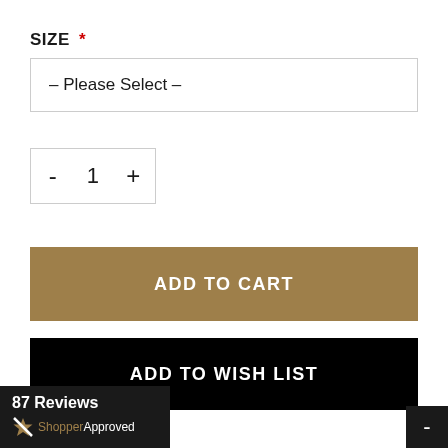SIZE *
-- Please Select --
- 1 +
ADD TO CART
ADD TO WISH LIST
87 Reviews
ShopperApproved